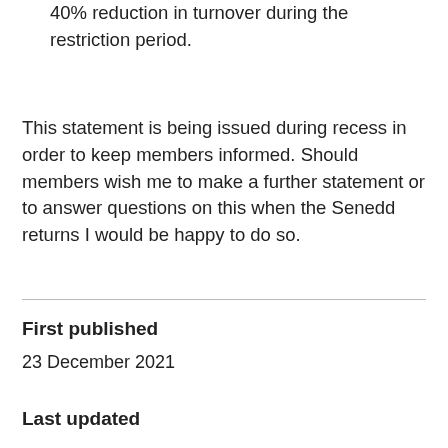40% reduction in turnover during the restriction period.
This statement is being issued during recess in order to keep members informed. Should members wish me to make a further statement or to answer questions on this when the Senedd returns I would be happy to do so.
First published
23 December 2021
Last updated